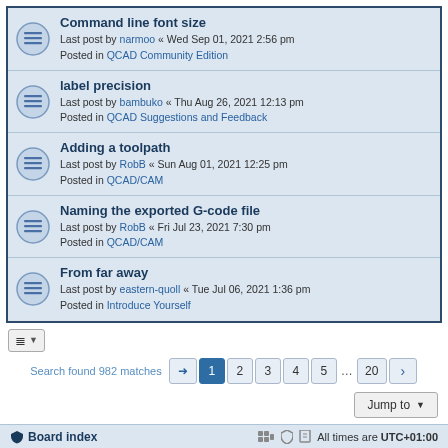Command line font size — Last post by narmoo « Wed Sep 01, 2021 2:56 pm — Posted in QCAD Community Edition
label precision — Last post by bambuko « Thu Aug 26, 2021 12:13 pm — Posted in QCAD Suggestions and Feedback
Adding a toolpath — Last post by RobB « Sun Aug 01, 2021 12:25 pm — Posted in QCAD/CAM
Naming the exported G-code file — Last post by RobB « Fri Jul 23, 2021 7:30 pm — Posted in QCAD/CAM
From far away — Last post by eastern-quoll « Tue Jul 06, 2021 1:36 pm — Posted in Introduce Yourself
Search found 982 matches
Jump to
Board index — All times are UTC+01:00
Powered by phpBB® Forum Software © phpBB Limited
Time: 0.120s | Queries: 11 | Peak Memory Usage: 2.62 MiB